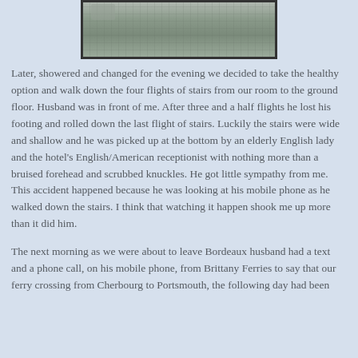[Figure (photo): Partial photograph showing a stone or tile paved surface, likely an outdoor plaza or square, with a figure partially visible at the top left.]
Later, showered and changed for the evening we decided to take the healthy option and walk down the four flights of stairs from our room to the ground floor. Husband was in front of me. After three and a half flights he lost his footing and rolled down the last flight of stairs. Luckily the stairs were wide and shallow and he was picked up at the bottom by an elderly English lady and the hotel's English/American receptionist with nothing more than a bruised forehead and scrubbed knuckles. He got little sympathy from me. This accident happened because he was looking at his mobile phone as he walked down the stairs. I think that watching it happen shook me up more than it did him.
The next morning as we were about to leave Bordeaux husband had a text and a phone call, on his mobile phone, from Brittany Ferries to say that our ferry crossing from Cherbourg to Portsmouth, the following day had been